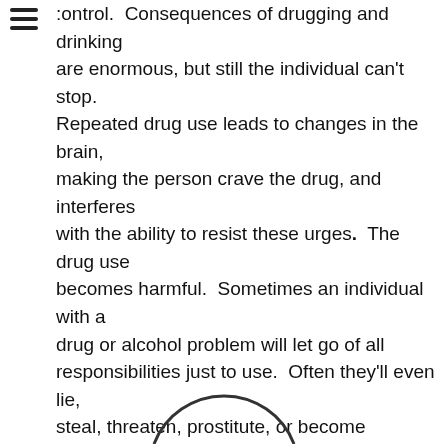control. Consequences of drugging and drinking are enormous, but still the individual can't stop. Repeated drug use leads to changes in the brain, making the person crave the drug, and interferes with the ability to resist these urges. The drug use becomes harmful. Sometimes an individual with a drug or alcohol problem will let go of all responsibilities just to use. Often they'll even lie, steal, threaten, prostitute, or become assaultive just to get more drugs. These brain changes can last a long time, which is why people often relapse after being clean for an extended period. It's common for a person to relapse multiple times before reaching for recovery.
[Figure (illustration): Partial arc/circle visible at the bottom center of the page]